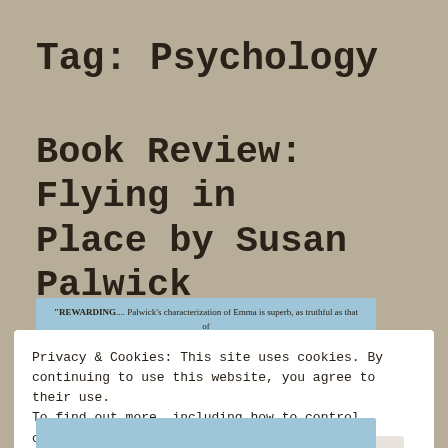Tag: Psychology
Book Review: Flying in Place by Susan Palwick
[Figure (photo): Blue book cover with text: 'REWARDING.... Palwick's characterization of Emma is superb, as truthful as that of Scout in To Kill a Mockingbird. Emma's compelling voice carries this book, lifting it far above the standard child-in-peril fare, into the world of first class storytelling.' SEATTLE TIMES]
Privacy & Cookies: This site uses cookies. By continuing to use this website, you agree to their use. To find out more, including how to control cookies, see here: Cookie Policy
Close and accept